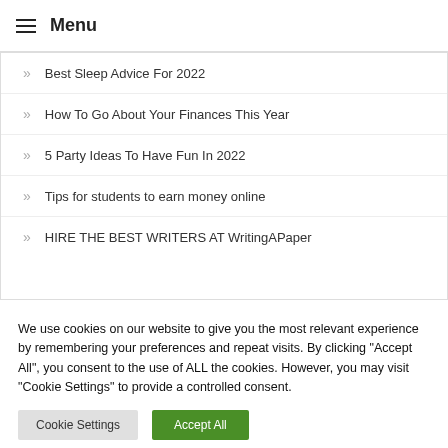≡ Menu
» Best Sleep Advice For 2022
» How To Go About Your Finances This Year
» 5 Party Ideas To Have Fun In 2022
» Tips for students to earn money online
» HIRE THE BEST WRITERS AT WritingAPaper
We use cookies on our website to give you the most relevant experience by remembering your preferences and repeat visits. By clicking "Accept All", you consent to the use of ALL the cookies. However, you may visit "Cookie Settings" to provide a controlled consent.
Cookie Settings | Accept All